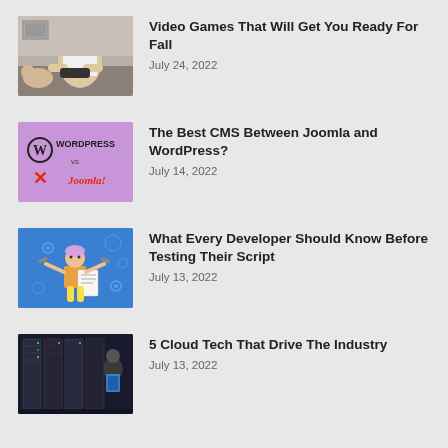[Figure (photo): Man playing video games on a couch with a dog]
Video Games That Will Get You Ready For Fall
July 24, 2022
[Figure (logo): WordPress vs Joomla logo on purple background]
The Best CMS Between Joomla and WordPress?
July 14, 2022
[Figure (illustration): Cartoon developer robot on blue background]
What Every Developer Should Know Before Testing Their Script
July 13, 2022
[Figure (photo): Person in server room / data center]
5 Cloud Tech That Drive The Industry
July 13, 2022